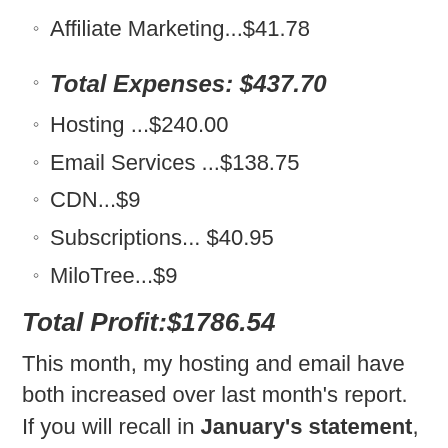Affiliate Marketing...$41.78
Total Expenses: $437.70
Hosting ...$240.00
Email Services ...$138.75
CDN...$9
Subscriptions... $40.95
MiloTree...$9
Total Profit:$1786.54
This month, my hosting and email have both increased over last month's report. If you will recall in January's statement,